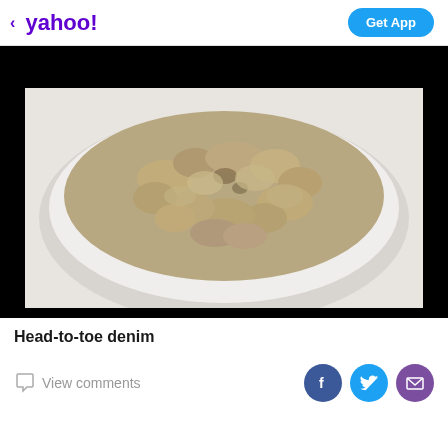< yahoo! | Get App
[Figure (photo): A white bowl filled with oatmeal/porridge, photographed from above on a white surface. The oatmeal has a lumpy, textured surface with brownish-gray coloring.]
Head-to-toe denim
View comments
Social share icons: Facebook, Twitter, Email